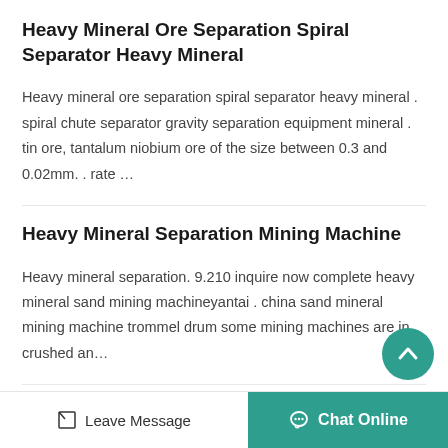Heavy Mineral Ore Separation Spiral Separator Heavy Mineral
Heavy mineral ore separation spiral separator heavy mineral . spiral chute separator gravity separation equipment mineral . tin ore, tantalum niobium ore of the size between 0.3 and 0.02mm. . rate …
Heavy Mineral Separation Mining Machine
Heavy mineral separation. 9.210 inquire now complete heavy mineral sand mining machineyantai . china sand mineral mining machine trommel drum some mining machines are in crushed an…
Heavy Mineral Ore Separation Spiral Separator For
Heavy mineral spiral separator chute made by fiber glass.us 1,000
Leave Message   Chat Online